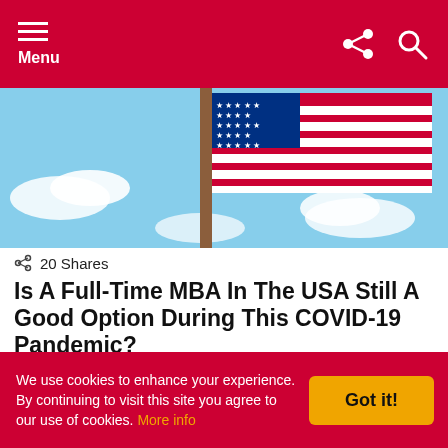Menu
[Figure (photo): American flag against a blue sky with clouds, displayed on a flagpole]
20 Shares
Is A Full-Time MBA In The USA Still A Good Option During This COVID-19 Pandemic?
[Figure (photo): Three-panel video thumbnail showing three people: a man with his face in his hand on the left, a woman with glasses speaking in the middle, and a woman smiling on the right]
We use cookies to enhance your experience. By continuing to visit this site you agree to our use of cookies. More info